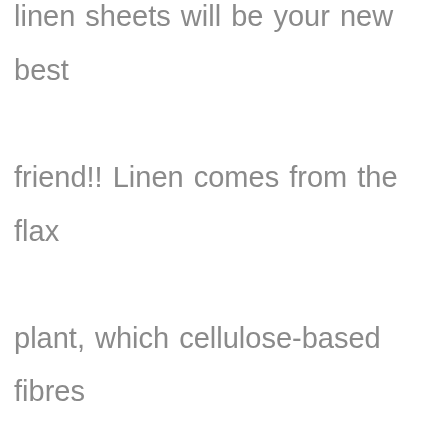linen sheets will be your new best friend!! Linen comes from the flax plant, which cellulose-based fibres are considered hypoallergenic. A high quality linen also features tight-weave structures, which help eliminate dust mite access. This makes it the perfect choice for individuals with sensitivities